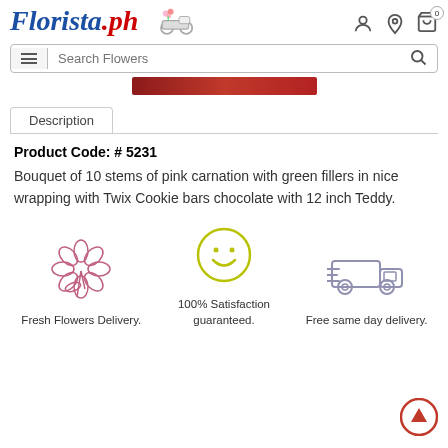[Figure (logo): Florista.ph logo with floral delivery scooter illustration]
[Figure (screenshot): Search bar with hamburger menu icon and search magnifier icon]
[Figure (other): Red gradient decorative bar]
Description
Product Code: # 5231
Bouquet of 10 stems of pink carnation with green fillers in nice wrapping with Twix Cookie bars chocolate with 12 inch Teddy.
[Figure (illustration): Fresh Flowers Delivery icon - flower bouquet illustration]
Fresh Flowers Delivery.
[Figure (illustration): 100% Satisfaction guaranteed icon - smiley face circle]
100% Satisfaction guaranteed.
[Figure (illustration): Free same day delivery icon - delivery truck]
Free same day delivery.